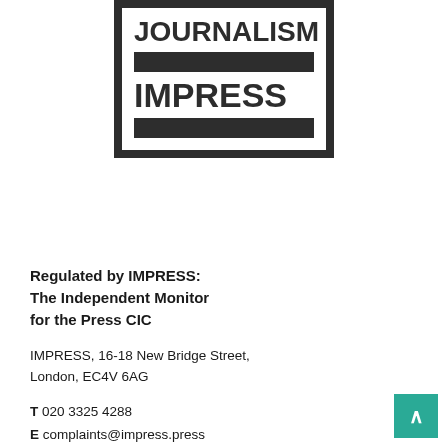[Figure (logo): IMPRESS logo: a bordered box containing the word JOURNALISM at top, a black bar, the word IMPRESS in large bold text, and another black bar at the bottom.]
Regulated by IMPRESS: The Independent Monitor for the Press CIC
IMPRESS, 16-18 New Bridge Street, London, EC4V 6AG
T 020 3325 4288
E complaints@impress.press
W impress.press